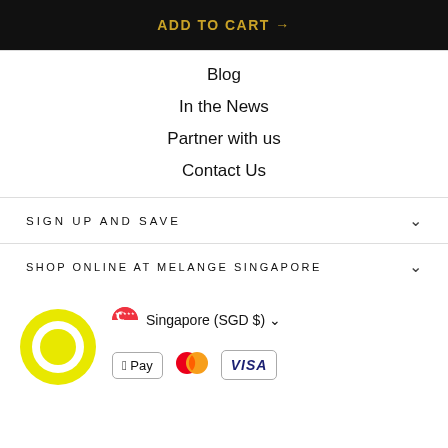ADD TO CART →
Blog
In the News
Partner with us
Contact Us
SIGN UP AND SAVE
SHOP ONLINE AT MELANGE SINGAPORE
Singapore (SGD $)
[Figure (logo): Yellow circular chat/speech bubble icon]
[Figure (logo): Singapore flag circle]
[Figure (logo): Apple Pay button]
[Figure (logo): Mastercard logo with red and orange overlapping circles]
[Figure (logo): VISA logo]